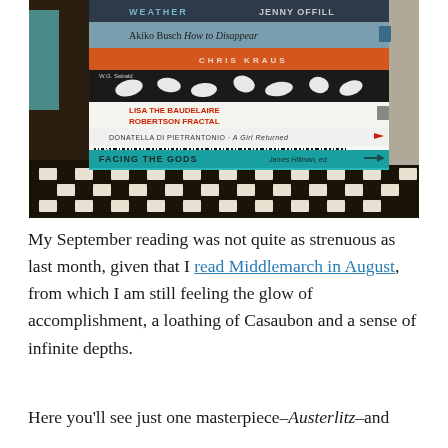[Figure (photo): A stack of books photographed from the side showing their spines and covers, including titles: Weather by Jenny Offill, How to Disappear by Akiko Busch, a Chris Kraus book, a W.G. Sebald book, The Baudelaire Fractal by Lisa Robertson, A Girl Returned by Donatella Di Pietrantonio, a barcode-spined book, and Facing the Gods edited by James Hillman.]
My September reading was not quite as strenuous as last month, given that I read Middlemarch in August, from which I am still feeling the glow of accomplishment, a loathing of Casaubon and a sense of infinite depths.
Here you'll see just one masterpiece–Austerlitz–and